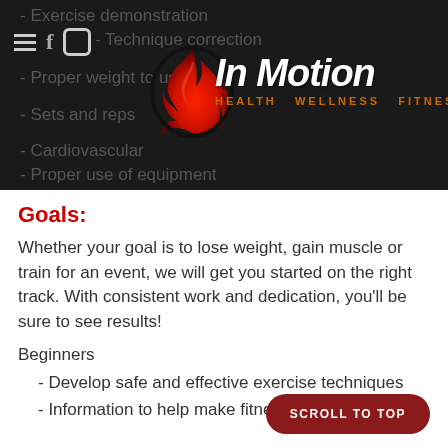[Figure (logo): In Motion Health Wellness Fitness logo with red flame/swoosh graphic and italic bold white text, orange tagline]
- Exercise demonstration
- Technique correction
- Proper weight to use
- Sets and reps
- Cardiovascular
- Proper use of equipment
Goals:
Whether your goal is to lose weight, gain muscle or train for an event, we will get you started on the right track. With consistent work and dedication, you'll be sure to see results!
Beginners
- Develop safe and effective exercise techniques
- Information to help make fitness a part of a